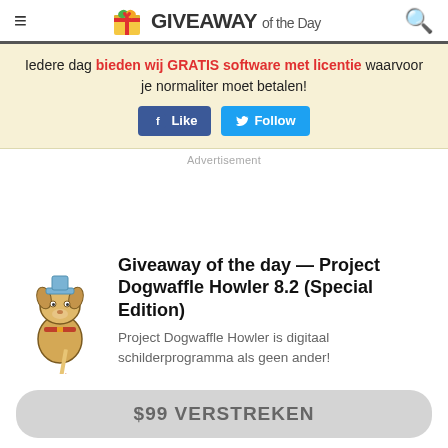GIVEAWAY of the Day
Iedere dag bieden wij GRATIS software met licentie waarvoor je normaliter moet betalen!
Advertisement
Giveaway of the day — Project Dogwaffle Howler 8.2 (Special Edition)
Project Dogwaffle Howler is digitaal schilderprogramma als geen ander!
$99 VERSTREKEN